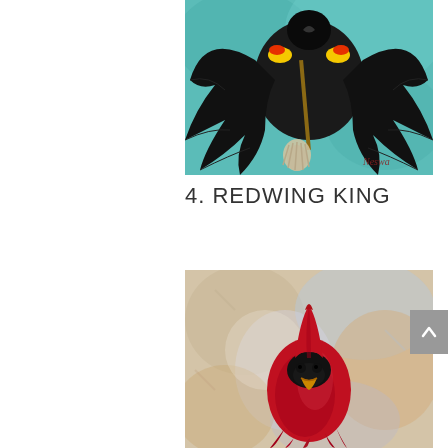[Figure (illustration): Painting of a black bird (redwing blackbird) with spread wings, yellow and red shoulder patches, holding a stick with a feathered end, on a teal/turquoise background. Artist signature 'Neswa' in bottom right corner.]
4. REDWING KING
[Figure (illustration): Painting of a red cardinal bird facing forward, with prominent red crest and black face mask, on a mottled beige/blue/orange textured background.]